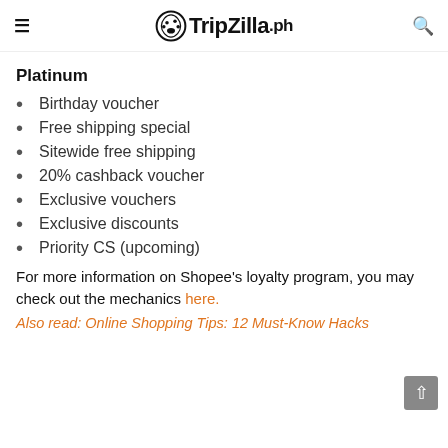≡ TripZilla.ph 🔍
Platinum
Birthday voucher
Free shipping special
Sitewide free shipping
20% cashback voucher
Exclusive vouchers
Exclusive discounts
Priority CS (upcoming)
For more information on Shopee's loyalty program, you may check out the mechanics here.
Also read: Online Shopping Tips: 12 Must-Know Hacks